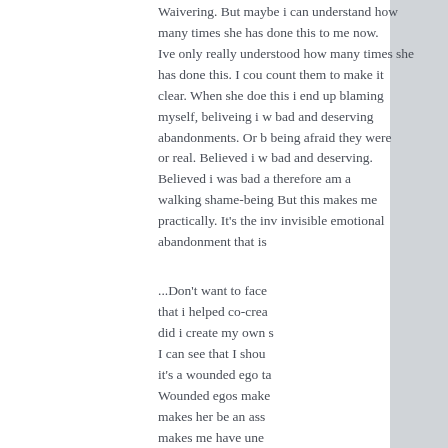Waivering. But maybe i can understand how many times she has done this to me now. Ive only really understood how many times she has done this. I could count them to make it clear. When she does this i end up blaming myself, beliveing i was bad and deserving abandonments. Or being afraid they were real or real. Believed i was bad and deserving. Believed i was bad and therefore am a walking shame-being. But this makes me practically. It's the invisible emotional abandonment that is
...Don't want to face that i helped co-create or that i helped co-create... did i create my own suffering here? I can see that I should forgive her but it's a wounded ego talking. Wounded egos make each other suffer. She makes her be an ass to me and it makes me have unequal... what's the difference? They are both egos. I can blame her if I am to blame her as well now. If I can forgive